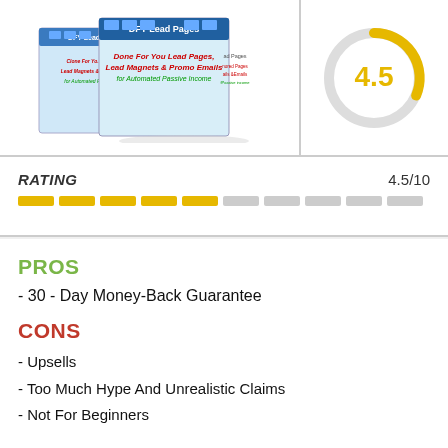[Figure (photo): DFY Lead Pages product box image showing stacked software boxes with text 'DFY Lead Pages - Done For You Lead Pages, Lead Magnets & Promo Emails for Automated Passive Income']
[Figure (donut-chart): Donut/gauge chart showing rating of 4.5, with golden-yellow arc covering roughly 45% and gray arc covering the rest. The number 4.5 is displayed in large golden text in the center.]
RATING    4.5/10
[Figure (infographic): Rating bar visualization: 5 filled golden-yellow bars and 5 empty gray bars representing a score of 4.5/10]
PROS
- 30 - Day Money-Back Guarantee
CONS
- Upsells
- Too Much Hype And Unrealistic Claims
- Not For Beginners